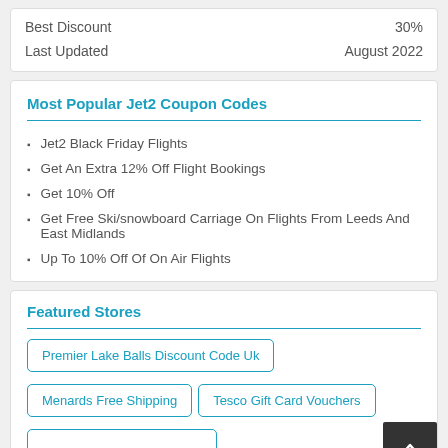| Best Discount | 30% |
| Last Updated | August 2022 |
Most Popular Jet2 Coupon Codes
Jet2 Black Friday Flights
Get An Extra 12% Off Flight Bookings
Get 10% Off
Get Free Ski/snowboard Carriage On Flights From Leeds And East Midlands
Up To 10% Off Of On Air Flights
Featured Stores
Premier Lake Balls Discount Code Uk
Menards Free Shipping
Tesco Gift Card Vouchers